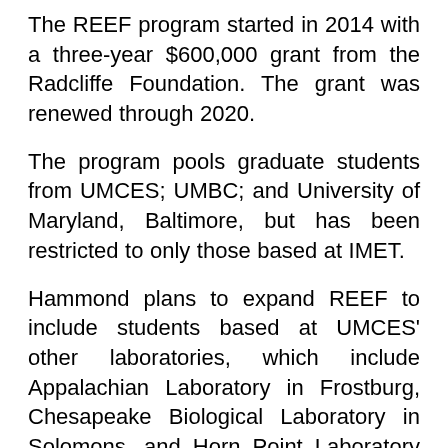The REEF program started in 2014 with a three-year $600,000 grant from the Radcliffe Foundation. The grant was renewed through 2020.
The program pools graduate students from UMCES; UMBC; and University of Maryland, Baltimore, but has been restricted to only those based at IMET.
Hammond plans to expand REEF to include students based at UMCES' other laboratories, which include Appalachian Laboratory in Frostburg, Chesapeake Biological Laboratory in Solomons, and Horn Point Laboratory in Cambridge, starting this fall.
Hammond said students who go through the program can apply for a stipend and if they get it, they are encouraged to return a second year to help the first-year students. Accepting a stipend also requires the student undertake an externship.